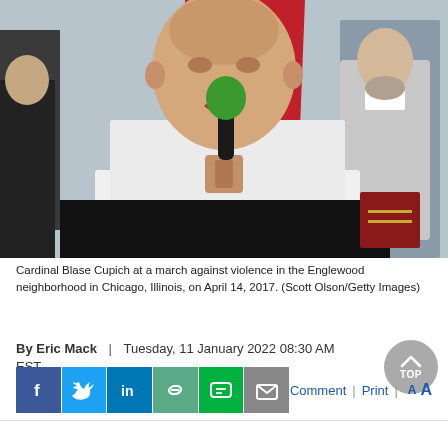[Figure (photo): Cardinal Blase Cupich speaking into a microphone with a green foam cover, wearing white vestments and a red stole, at an outdoor event. Another clergy member visible in background.]
Cardinal Blase Cupich at a march against violence in the Englewood neighborhood in Chicago, Illinois, on April 14, 2017. (Scott Olson/Getty Images)
By Eric Mack | Tuesday, 11 January 2022 08:30 AM EST